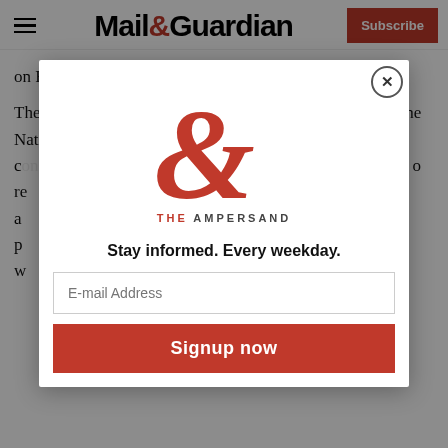Mail&Guardian | Subscribe
on Friday night.
The debate surrounding President Jacob Zuma’s State of the Nation Address should make it plain that there c… o re… a… p… w…
[Figure (logo): The Ampersand modal popup logo with large red ampersand symbol and text 'THE AMPERSAND']
Stay informed. Every weekday.
E-mail Address
Signup now